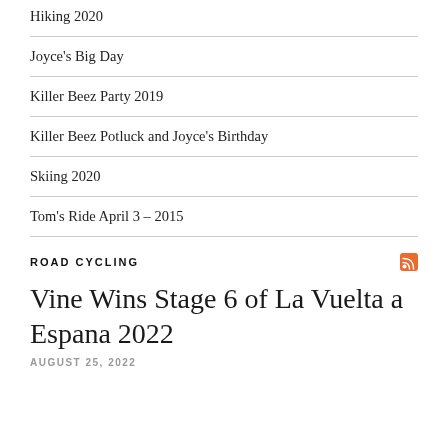Hiking 2020
Joyce's Big Day
Killer Beez Party 2019
Killer Beez Potluck and Joyce's Birthday
Skiing 2020
Tom's Ride April 3 – 2015
ROAD CYCLING
Vine Wins Stage 6 of La Vuelta a Espana 2022
AUGUST 25, 2022